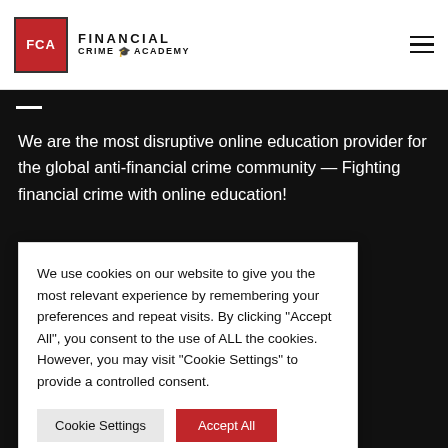FCA FINANCIAL CRIME ACADEMY
We are the most disruptive online education provider for the global anti-financial crime community — Fighting financial crime with online education!
We use cookies on our website to give you the most relevant experience by remembering your preferences and repeat visits. By clicking "Accept All", you consent to the use of ALL the cookies. However, you may visit "Cookie Settings" to provide a controlled consent.
Cookie Settings  |  Accept All